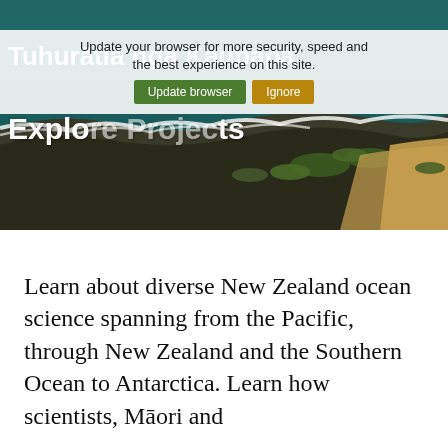[Figure (photo): Aerial coastal photograph showing rocky New Zealand shoreline with dark teal ocean waves breaking against rocks, with scrubby vegetation and sandy area visible on the right.]
Update your browser for more security, speed and the best experience on this site.
Tuhurātia nga Kaupapa
Explore Projects
Learn about diverse New Zealand ocean science spanning from the Pacific, through New Zealand and the Southern Ocean to Antarctica. Learn how scientists, Māori and